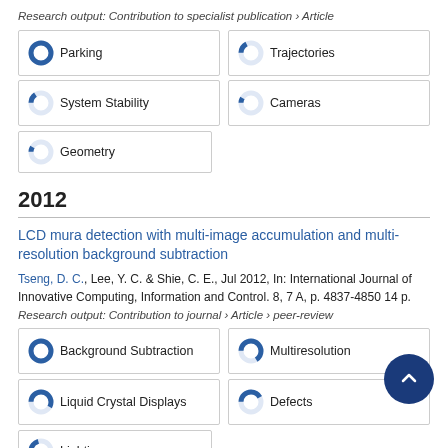Research output: Contribution to specialist publication › Article
100% Parking
17% Trajectories
15% System Stability
8% Cameras
8% Geometry
2012
LCD mura detection with multi-image accumulation and multi-resolution background subtraction
Tseng, D. C., Lee, Y. C. & Shie, C. E., Jul 2012, In: International Journal of Innovative Computing, Information and Control. 8, 7 A, p. 4837-4850 14 p.
Research output: Contribution to journal › Article › peer-review
100% Background Subtraction
66% Multiresolution
58% Liquid Crystal Displays
42% Defects
Lighting